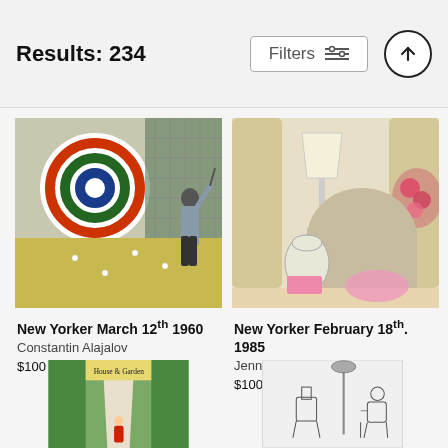Results: 234
[Figure (illustration): New Yorker cover illustration showing a person playing golf indoors with a target/bullseye on the wall, painting style]
New Yorker March 12th 1960
Constantin Alajalov
$100
[Figure (illustration): New Yorker cover illustration showing an interior scene with a lamp, vase, roses and pink items on a table]
New Yorker February 18th. 1985
Jenni Oliver
$100
[Figure (illustration): House & Garden magazine cover with garden path and woman in red]
[Figure (illustration): Sketch illustration of people with machinery/robots in a room, black and white line art]